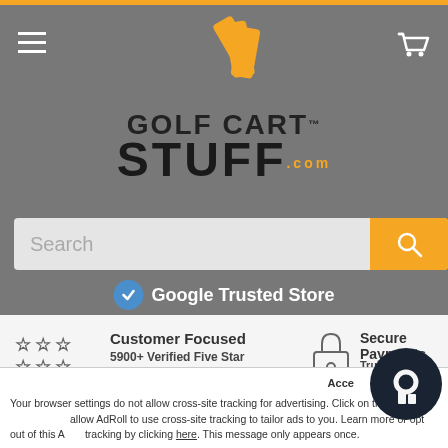[Figure (logo): Golf Cart Stuff .com logo with orange fan/burst graphic and bold text]
Search
Google Trusted Store
Customer Focused
5900+ Verified Five Star Reviews on Shopper Approved®!
Secure Payments
Trust Guard® Secure Personal Information Is Protected.
Your browser settings do not allow cross-site tracking for advertising. Click on the arrow to allow AdRoll to use cross-site tracking to tailor ads to you. Learn more or opt out of this AdRoll tracking by clicking here. This message only appears once.